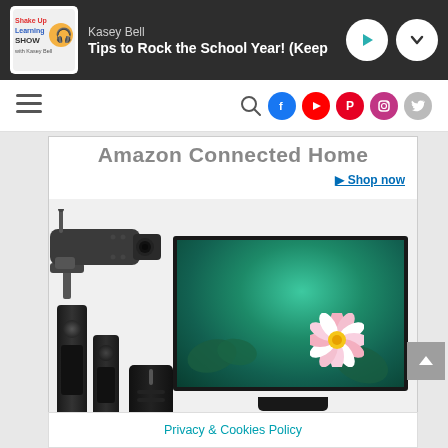Kasey Bell — Tips to Rock the School Year! (Keep
[Figure (screenshot): Website navigation bar with hamburger menu, search icon, and social media icons (Facebook, YouTube, Pinterest, Instagram, Twitter)]
[Figure (advertisement): Amazon Connected Home advertisement showing a security camera, a flat-screen TV displaying a water lily, and wireless speakers. Includes 'Shop now' link.]
Amazon Connected Home
▶ Shop now
Privacy & Cookies Policy